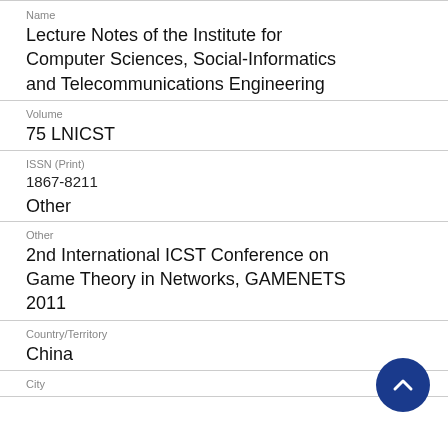Name
Lecture Notes of the Institute for Computer Sciences, Social-Informatics and Telecommunications Engineering
Volume
75 LNICST
ISSN (Print)
1867-8211
Other
Other
2nd International ICST Conference on Game Theory in Networks, GAMENETS 2011
Country/Territory
China
City